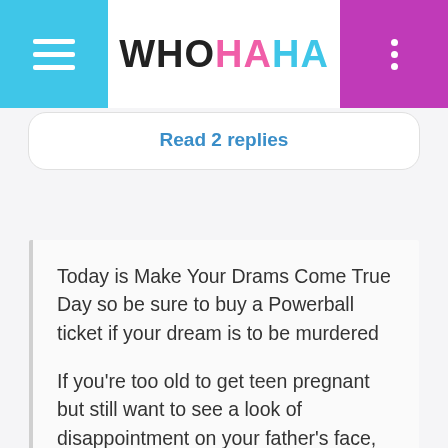WHOHAHA
Read 2 replies
Today is Make Your Drams Come True Day so be sure to buy a Powerball ticket if your dream is to be murdered for your money. — Robin McCauley (@RobinMcCauley) January 13, 2016
If you're too old to get teen pregnant but still want to see a look of disappointment on your father's face, may I suggest a short haircut. — Julieanne Smolinski